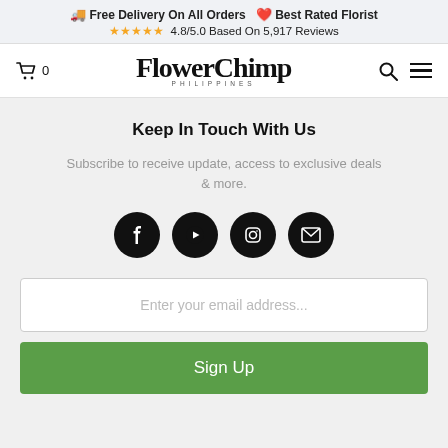🚚 Free Delivery On All Orders ❤️ Best Rated Florist ⭐⭐⭐⭐⭐ 4.8/5.0 Based On 5,917 Reviews
[Figure (logo): Flower Chimp Philippines logo in script font, with cart icon (0), search icon, and hamburger menu]
Keep In Touch With Us
Subscribe to receive update, access to exclusive deals & more.
[Figure (infographic): Four black circle social media icons: Facebook, YouTube, Instagram, and Email]
Enter your email address...
Sign Up